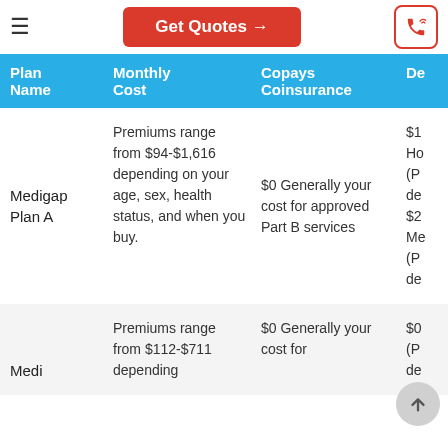Get Quotes →
| Plan Name | Monthly Cost | Copays Coinsurance | De |
| --- | --- | --- | --- |
| Medigap Plan A | Premiums range from $94-$1,616 depending on your age, sex, health status, and when you buy. | $0 Generally your cost for approved Part B services | $1 Ho (P d $2 Me (P de |
| Medi | Premiums range from $112-$711 depending | $0 Generally your cost for | $0 (P de |